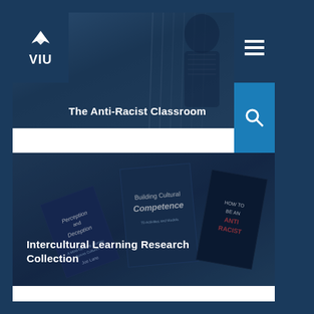[Figure (screenshot): VIU (Vancouver Island University) website screenshot showing navigation with logo, hamburger menu, and search button on dark navy background]
[Figure (photo): Top hero image showing a person in a classroom setting with dark blue overlay, titled 'The Anti-Racist Classroom']
The Anti-Racist Classroom
[Figure (photo): Bottom hero image showing a collection of books including 'Perception and Deception', 'Building Cultural Competence', 'How to Be an Antiracist', with dark blue overlay]
Intercultural Learning Research Collection